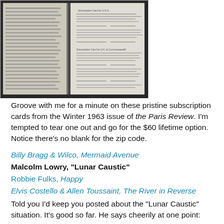[Figure (photo): Photograph of an open book showing subscription cards from the Winter 1963 issue of the Paris Review, with printed text and form lines visible on the right-hand page.]
Groove with me for a minute on these pristine subscription cards from the Winter 1963 issue of the Paris Review. I'm tempted to tear one out and go for the $60 lifetime option. Notice there's no blank for the zip code.
Billy Bragg & Wilco, Mermaid Avenue
Malcolm Lowry, "Lunar Caustic"
Robbie Fulks, Happy
Elvis Costello & Allen Toussaint, The River in Reverse
Told you I'd keep you posted about the "Lunar Caustic" situation. It's good so far. He says cheerily at one point: